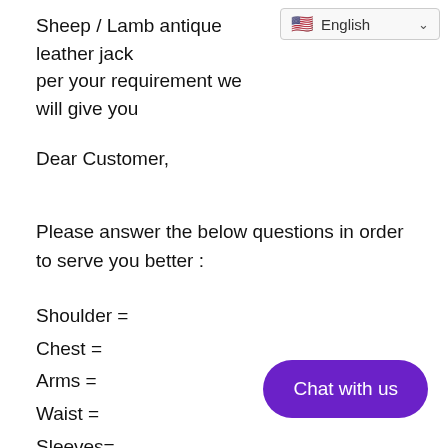Sheep / Lamb antique leather jack… as per your requirement we will give you
[Figure (screenshot): Language selector widget showing US flag and 'English' with dropdown chevron]
Dear Customer,
Please answer the below questions in order to serve you better :
Shoulder =
Chest =
Arms =
Waist =
Sleeves=
Tummy =
Length of jacket =
HIP =
Actual height =
[Figure (other): Purple rounded button with white text 'Chat with us']